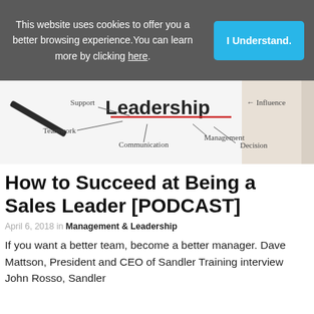This website uses cookies to offer you a better browsing experience. You can learn more by clicking here.
[Figure (photo): Whiteboard with 'Leadership' written in bold red, surrounded by handwritten words: Support, Influence, Teamwork, Communication, Management, Decision, with arrows pointing to Leadership. A hand holding a pen/pencil is visible on the right.]
How to Succeed at Being a Sales Leader [PODCAST]
April 6, 2018 in Management & Leadership
If you want a better team, become a better manager. Dave Mattson, President and CEO of Sandler Training interview John Rosso, Sandler